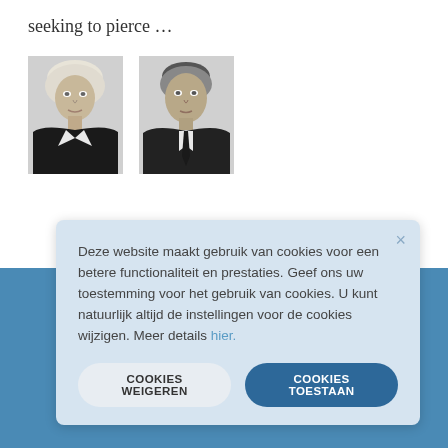seeking to pierce …
[Figure (photo): Black and white headshot of a woman with short blonde hair, wearing a dark blazer with white accents]
[Figure (photo): Black and white headshot of a man in a dark suit and tie]
Deze website maakt gebruik van cookies voor een betere functionaliteit en prestaties. Geef ons uw toestemming voor het gebruik van cookies. U kunt natuurlijk altijd de instellingen voor de cookies wijzigen. Meer details hier.
La...
Ma...